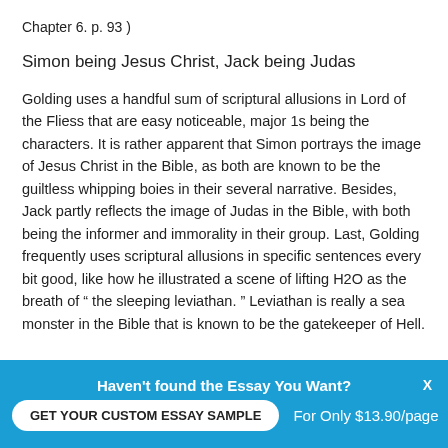Chapter 6. p. 93 )
Simon being Jesus Christ, Jack being Judas
Golding uses a handful sum of scriptural allusions in Lord of the Fliess that are easy noticeable, major 1s being the characters. It is rather apparent that Simon portrays the image of Jesus Christ in the Bible, as both are known to be the guiltless whipping boies in their several narrative. Besides, Jack partly reflects the image of Judas in the Bible, with both being the informer and immorality in their group. Last, Golding frequently uses scriptural allusions in specific sentences every bit good, like how he illustrated a scene of lifting H2O as the breath of “ the sleeping leviathan. ” Leviathan is really a sea monster in the Bible that is known to be the gatekeeper of Hell.
Haven't found the Essay You Want?
GET YOUR CUSTOM ESSAY SAMPLE
For Only $13.90/page
X